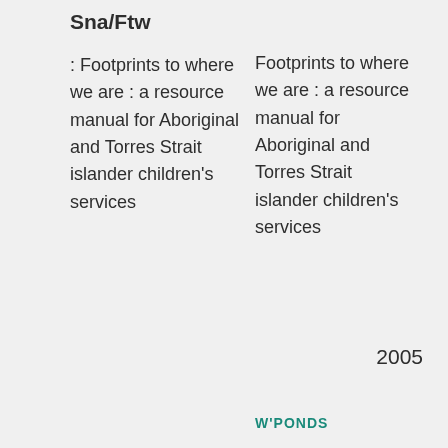362.849915
Sna/Ftw
: Footprints to where we are : a resource manual for Aboriginal and Torres Strait islander children's services
Footprints to where we are : a resource manual for Aboriginal and Torres Strait islander children's services
[Figure (illustration): Teal open book icon with lines representing pages, labeled BOOK underneath]
W'PONDS
2005
362.849915
Sna/D